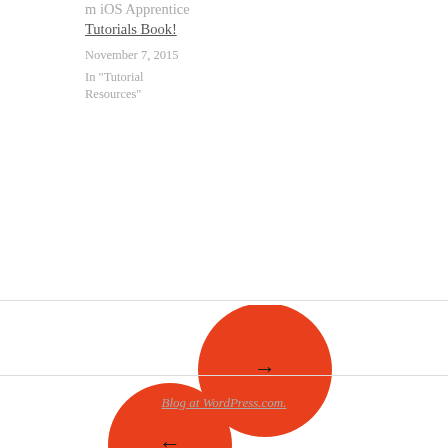m iOS Apprentice Tutorials Book!
November 7, 2015
In "Tutorial Resources"
[Figure (illustration): Two orange circular navigation buttons. The upper-right circle contains a right-pointing arrow (next). The lower-left circle contains a left-pointing arrow (previous).]
Blog at WordPress.com.